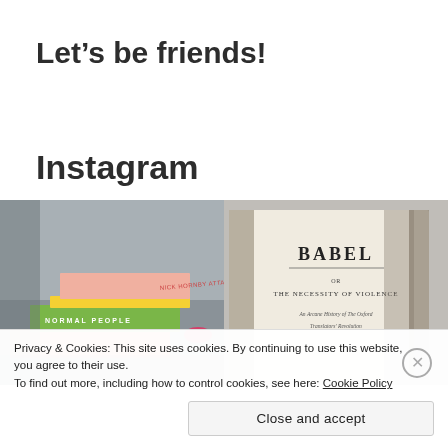Let’s be friends!
Instagram
[Figure (photo): Two side-by-side photos of books. Left: stacked books including 'Normal People' on a green spine and other colorful book spines. Right: Open book showing title page of 'Babel or The Necessity of Violence'.]
Privacy & Cookies: This site uses cookies. By continuing to use this website, you agree to their use.
To find out more, including how to control cookies, see here: Cookie Policy
Close and accept